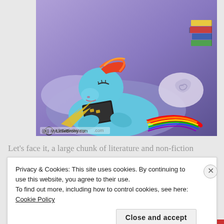[Figure (illustration): Meme image showing a My Little Pony character (Rainbow Dash) lying down reading a book with text 'Too long, didn't read' at the top. Watermark reads 'MyLittleBrony.com'. Background is purple/blue.]
Let's face it, a large chunk of literature and non-fiction
Privacy & Cookies: This site uses cookies. By continuing to use this website, you agree to their use.
To find out more, including how to control cookies, see here: Cookie Policy
Close and accept